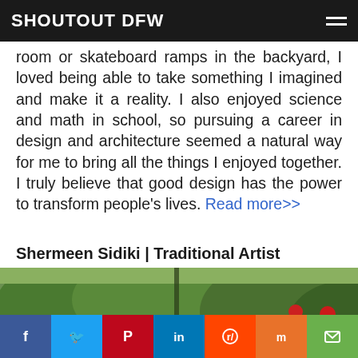SHOUTOUT DFW
room or skateboard ramps in the backyard, I loved being able to take something I imagined and make it a reality. I also enjoyed science and math in school, so pursuing a career in design and architecture seemed a natural way for me to bring all the things I enjoyed together. I truly believe that good design has the power to transform people's lives. Read more>>
Shermeen Sidiki | Traditional Artist
[Figure (photo): Photo of Shermeen Sidiki, a woman with dark hair photographed outdoors with colorful flowers and green foliage in the background]